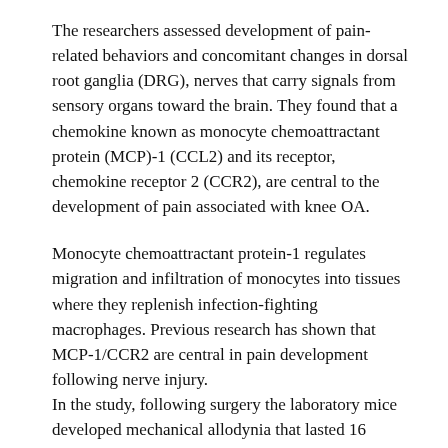The researchers assessed development of pain-related behaviors and concomitant changes in dorsal root ganglia (DRG), nerves that carry signals from sensory organs toward the brain. They found that a chemokine known as monocyte chemoattractant protein (MCP)-1 (CCL2) and its receptor, chemokine receptor 2 (CCR2), are central to the development of pain associated with knee OA.
Monocyte chemoattractant protein-1 regulates migration and infiltration of monocytes into tissues where they replenish infection-fighting macrophages. Previous research has shown that MCP-1/CCR2 are central in pain development following nerve injury. In the study, following surgery the laboratory mice developed mechanical allodynia that lasted 16 weeks. Levels of MCP-1, CCR2 mRNA and protein